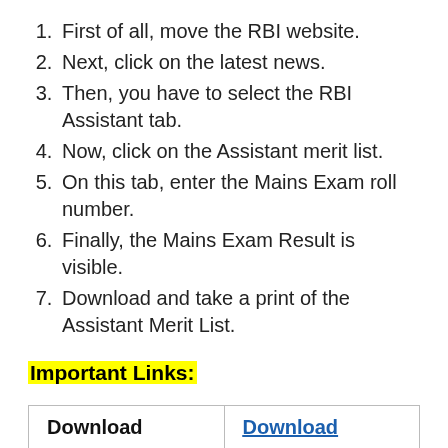First of all, move the RBI website.
Next, click on the latest news.
Then, you have to select the RBI Assistant tab.
Now, click on the Assistant merit list.
On this tab, enter the Mains Exam roll number.
Finally, the Mains Exam Result is visible.
Download and take a print of the Assistant Merit List.
Important Links:
| Download | Download |
| --- | --- |